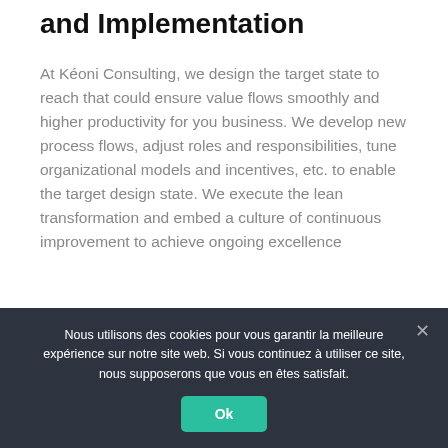and Implementation
At Kéoni Consulting, we design the target state to reach that could ensure value flows smoothly and higher productivity for you business. We develop new process flows, adjust roles and responsibilities, tune organizational models and incentives, etc. to enable the target design state. We execute the lean transformation and embed a culture of continuous improvement to achieve ongoing excellence
Nous utilisons des cookies pour vous garantir la meilleure expérience sur notre site web. Si vous continuez à utiliser ce site, nous supposerons que vous en êtes satisfait.